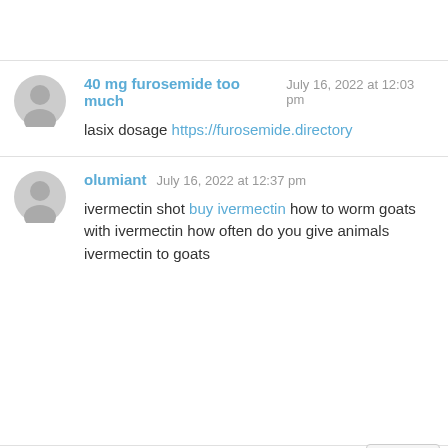40 mg furosemide too much  July 16, 2022 at 12:03 pm
lasix dosage https://furosemide.directory
olumiant  July 16, 2022 at 12:37 pm
ivermectin shot buy ivermectin how to worm goats with ivermectin how often do you give animals ivermectin to goats